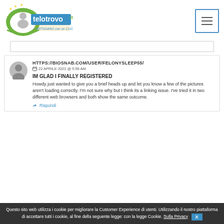[Figure (logo): Telotrovo.it logo with tagline 'l'artigiano con un click' and hamburger menu icon]
HTTPS://BIOSNAB.COM/USER/FELONYSLEEP55/
22 APRILE 2022 @ 5:56 AM
IM GLAD I FINALLY REGISTERED
Howdy just wanted to give you a brief heads up and let you know a few of the pictures aren't loading correctly. I'm not sure why but I think its a linking issue. I've tried it in two different web browsers and both show the same outcome.
Rispondi
Questo sito web utilizza i cookie per migliorare la Customer Experience di utenti. Utilizzando il nostro piattaforma di accettare tutti i cookie, al fine della seguente legge: con la legge Cookie. Sulla Privacy X